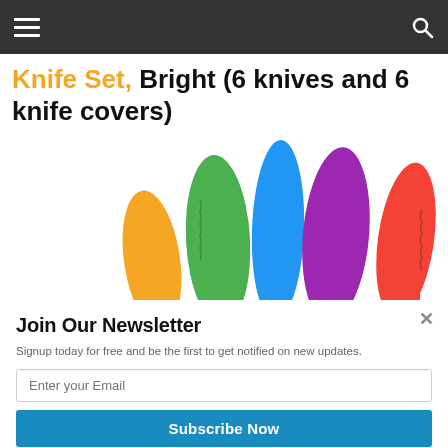Navigation bar with hamburger menu and search icon
Knife Set, Bright (6 knives and 6 knife covers)
[Figure (photo): Colorful knife set showing 5 knives in orange, green, blue, purple, and red colors arranged side by side with a 'Powered by Sumo' watermark overlay]
Join Our Newsletter
Signup today for free and be the first to get notified on new updates.
Enter your Email
Subscribe Now